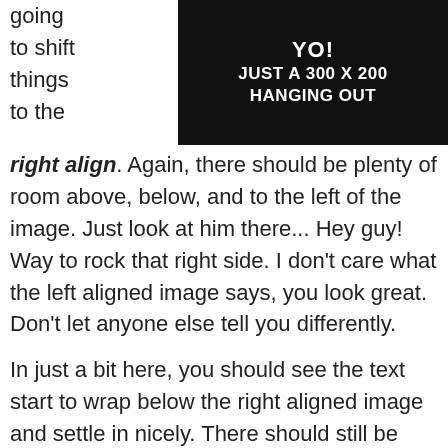[Figure (illustration): Dark/black image placeholder with white bold text reading 'YO! JUST A 300 X 200 HANGING OUT', right-aligned float]
going to shift things to the right align. Again, there should be plenty of room above, below, and to the left of the image. Just look at him there... Hey guy! Way to rock that right side. I don't care what the left aligned image says, you look great. Don't let anyone else tell you differently.

In just a bit here, you should see the text start to wrap below the right aligned image and settle in nicely. There should still be plenty of room and everything should be sitting pretty. Yeah. Just like that. It never felt so good to be